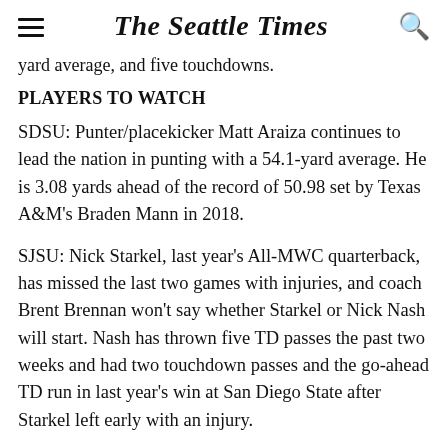The Seattle Times
yard average, and five touchdowns.
PLAYERS TO WATCH
SDSU: Punter/placekicker Matt Araiza continues to lead the nation in punting with a 54.1-yard average. He is 3.08 yards ahead of the record of 50.98 set by Texas A&M's Braden Mann in 2018.
SJSU: Nick Starkel, last year's All-MWC quarterback, has missed the last two games with injuries, and coach Brent Brennan won't say whether Starkel or Nick Nash will start. Nash has thrown five TD passes the past two weeks and had two touchdown passes and the go-ahead TD run in last year's win at San Diego State after Starkel left early with an injury.
FACTS & FIGURES